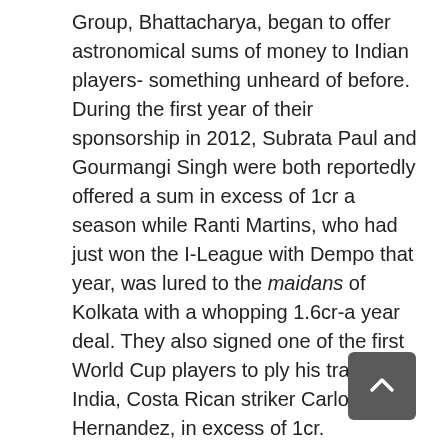Group, Bhattacharya, began to offer astronomical sums of money to Indian players- something unheard of before. During the first year of their sponsorship in 2012, Subrata Paul and Gourmangi Singh were both reportedly offered a sum in excess of 1cr a season while Ranti Martins, who had just won the I-League with Dempo that year, was lured to the maidans of Kolkata with a whopping 1.6cr-a year deal. They also signed one of the first World Cup players to ply his trade in India, Costa Rican striker Carlos Hernandez, in excess of 1cr.